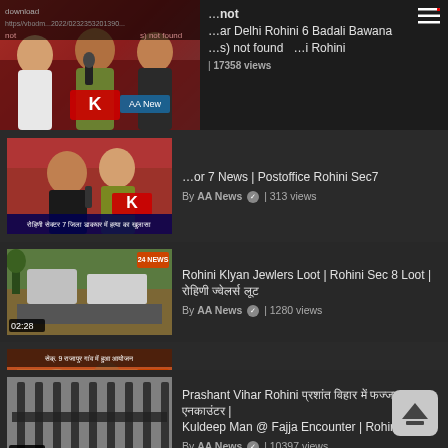[Figure (screenshot): Top area showing a truncated video thumbnail with people being interviewed, error/download text overlay, and partial title 'ar Delhi Rohini 6 Badali Bawana ... i Rohini', 17358 views by AA News]
[Figure (screenshot): Partial video item: thumbnail of street scene with Hindi text, title ending 'or 7 News | Postoffice Rohini Sec7', 313 views by AA News]
[Figure (screenshot): Video thumbnail street scene 02:28, title: Rohini Klyan Jewlers Loot | Rohini Sec 8 Loot | रोहिणी ज्वेलर्स लूट, 1280 views by AA News]
[Figure (screenshot): Video thumbnail event scene 02:06, title: Rohini Sec.9 Holi Milan | The Hindu Samaj Sangthan Rajapur Rohini Delhi, 181 views by AA News]
[Figure (screenshot): Video thumbnail iron bars 01:14, title: Prashant Vihar Rohini प्रशांत विहार में फज्जा एनकाउंटर | Kuldeep Man @ Fajja Encounter | Rohini, 10397 views by AA News]